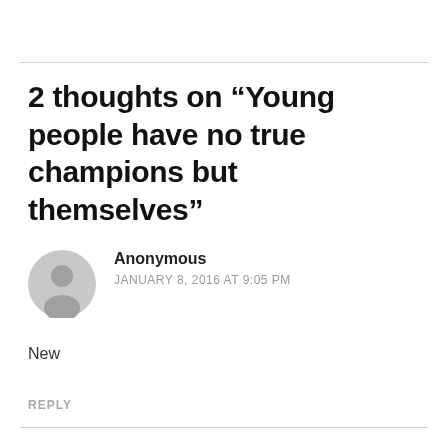2 thoughts on “Young people have no true champions but themselves”
[Figure (illustration): Generic grey user avatar icon showing a person silhouette]
Anonymous
JANUARY 8, 2016 AT 9:05 PM
New
REPLY